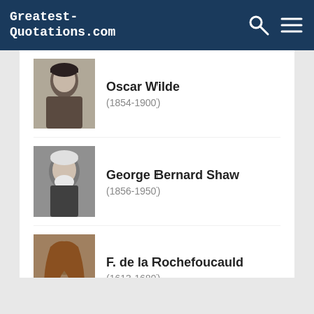Greatest-Quotations.com
Oscar Wilde (1854-1900)
George Bernard Shaw (1856-1950)
F. de la Rochefoucauld (1613-1680)
Aristotle (384 v.C. - 322 v.C.)
All authors
Popular authors